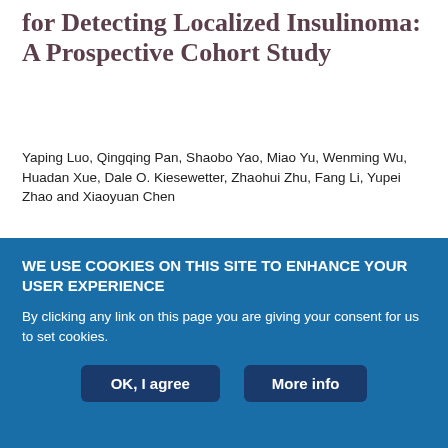for Detecting Localized Insulinoma: A Prospective Cohort Study
Yaping Luo, Qingqing Pan, Shaobo Yao, Miao Yu, Wenming Wu, Huadan Xue, Dale O. Kiesewetter, Zhaohui Zhu, Fang Li, Yupei Zhao and Xiaoyuan Chen
Journal of Nuclear Medicine May 2016, 57 (5) 715-720; DOI: https://doi.org/10.2967/jnumed.115.167445
Article
Figures & Data
WE USE COOKIES ON THIS SITE TO ENHANCE YOUR USER EXPERIENCE
By clicking any link on this page you are giving your consent for us to set cookies.
OK, I agree
More info